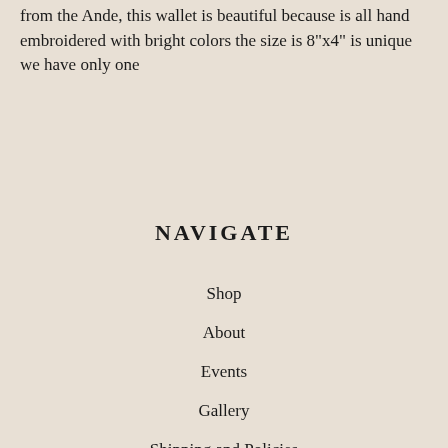from the Ande, this wallet is beautiful because is all hand embroidered with bright colors the size is 8"x4" is unique we have only one
NAVIGATE
Shop
About
Events
Gallery
Shipping and Policies
Contact Us